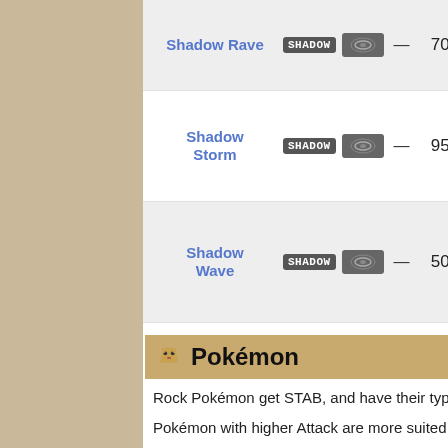| Move | Type | Category | PP | Power | Accuracy | Effect |
| --- | --- | --- | --- | --- | --- | --- |
| Shadow Rave | SHADOW | Physical | — | 70 | 100% | Inflicts regular damage with no additional effect. |
| Shadow Storm | SHADOW | Physical | — | 95 | 100% | Inflicts regular damage with no additional effect. |
| Shadow Wave | SHADOW | Physical | — | 50 | 100% | Inflicts regular damage with no additional effect. |
Pokémon
Rock Pokémon get STAB, and have their types highlighted in green.
Pokémon with higher Attack are more suited to…